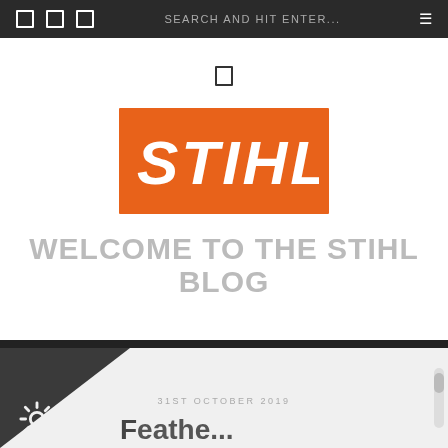SEARCH AND HIT ENTER...
[Figure (logo): STIHL brand logo — white italic bold text on orange rectangle background]
WELCOME TO THE STIHL BLOG
31ST OCTOBER 2019
Partial article title visible at bottom of page